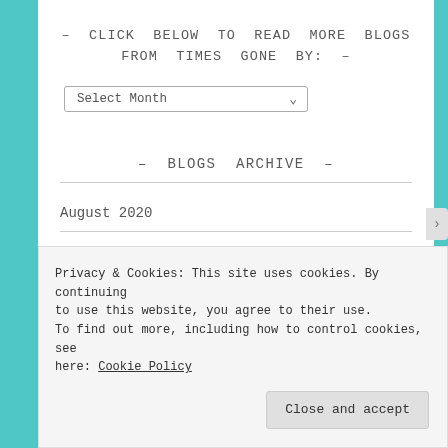– CLICK BELOW TO READ MORE BLOGS FROM TIMES GONE BY: –
Select Month
– BLOGS ARCHIVE –
August 2020
July 2020
Privacy & Cookies: This site uses cookies. By continuing to use this website, you agree to their use.
To find out more, including how to control cookies, see here: Cookie Policy
Close and accept